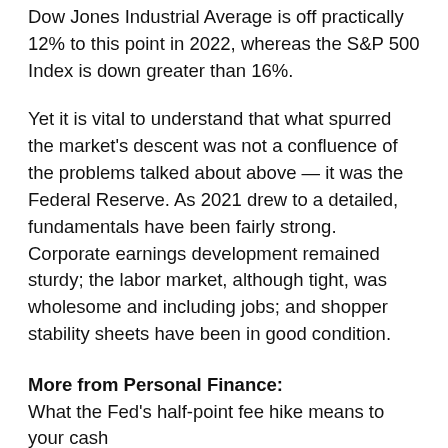Dow Jones Industrial Average is off practically 12% to this point in 2022, whereas the S&P 500 Index is down greater than 16%.
Yet it is vital to understand that what spurred the market's descent was not a confluence of the problems talked about above — it was the Federal Reserve. As 2021 drew to a detailed, fundamentals have been fairly strong. Corporate earnings development remained sturdy; the labor market, although tight, was wholesome and including jobs; and shopper stability sheets have been in good condition.
More from Personal Finance:
What the Fed's half-point fee hike means to your cash
As mortgage charges rise, do you have to purchase a house or hire?